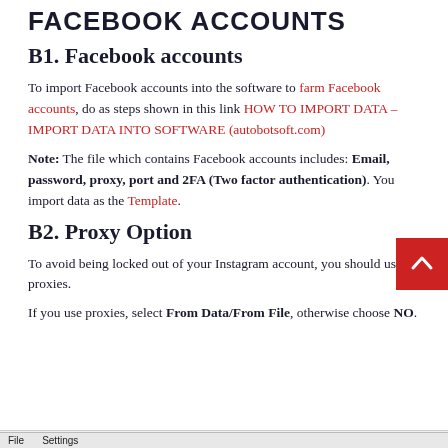FACEBOOK ACCOUNTS
B1. Facebook accounts
To import Facebook accounts into the software to farm Facebook accounts, do as steps shown in this link HOW TO IMPORT DATA – IMPORT DATA INTO SOFTWARE (autobotsoft.com)
Note: The file which contains Facebook accounts includes: Email, password, proxy, port and 2FA (Two factor authentication). You import data as the Template.
B2. Proxy Option
To avoid being locked out of your Instagram account, you should use proxies.
If you use proxies, select From Data/From File, otherwise choose NO.
[Figure (screenshot): Bottom bar showing FacebookFarming(7.7.2021) window title bar with File and Settings menu items]